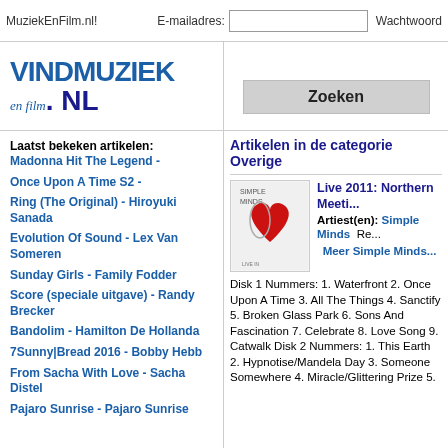MuziekEnFilm.nl!   E-mailadres:   [input]   Wachtwoord
[Figure (logo): VINDMUZIEK en film .NL logo in blue]
Zoeken
Laatst bekeken artikelen:
Madonna Hit The Legend -
Once Upon A Time S2 -
Ring (The Original) - Hiroyuki Sanada
Evolution Of Sound - Lex Van Someren
Sunday Girls - Family Fodder
Score (speciale uitgave) - Randy Brecker
Bandolim - Hamilton De Hollanda
7Sunny|Bread 2016 - Bobby Hebb
From Sacha With Love - Sacha Distel
Pajaro Sunrise - Pajaro Sunrise
Artikelen in de categorie Overige
[Figure (illustration): Simple Minds album cover with heart graphic]
Live 2011: Northern Meeti... Artiest(en): Simple Minds  Re... Meer Simple Minds...
Disk 1 Nummers: 1. Waterfront 2. Once Upon A Time 3. All The Things 4. Sanctify 5. Broken Glass Park 6. Sons And Fascination 7. Celebrate 8. Love Song 9. Catwalk Disk 2 Nummers: 1. This Earth 2. Hypnotise/Mandela Day 3. Someone Somewhere 4. Miracle/Glittering Prize 5. Don't You...